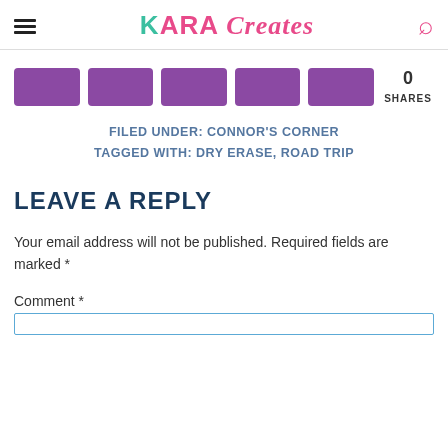KARA Creates
[Figure (other): Five purple social share buttons and a shares count showing 0 SHARES]
FILED UNDER: CONNOR'S CORNER
TAGGED WITH: DRY ERASE, ROAD TRIP
LEAVE A REPLY
Your email address will not be published. Required fields are marked *
Comment *